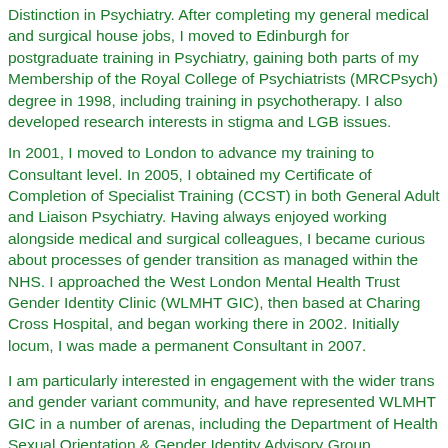Distinction in Psychiatry. After completing my general medical and surgical house jobs, I moved to Edinburgh for postgraduate training in Psychiatry, gaining both parts of my Membership of the Royal College of Psychiatrists (MRCPsych) degree in 1998, including training in psychotherapy. I also developed research interests in stigma and LGB issues.
In 2001, I moved to London to advance my training to Consultant level. In 2005, I obtained my Certificate of Completion of Specialist Training (CCST) in both General Adult and Liaison Psychiatry. Having always enjoyed working alongside medical and surgical colleagues, I became curious about processes of gender transition as managed within the NHS. I approached the West London Mental Health Trust Gender Identity Clinic (WLMHT GIC), then based at Charing Cross Hospital, and began working there in 2002. Initially locum, I was made a permanent Consultant in 2007.
I am particularly interested in engagement with the wider trans and gender variant community, and have represented WLMHT GIC in a number of arenas, including the Department of Health Sexual Orientation & Gender Identity Advisory Group (SOGIAG) and the Parliamentary Forum on Gender Variance.